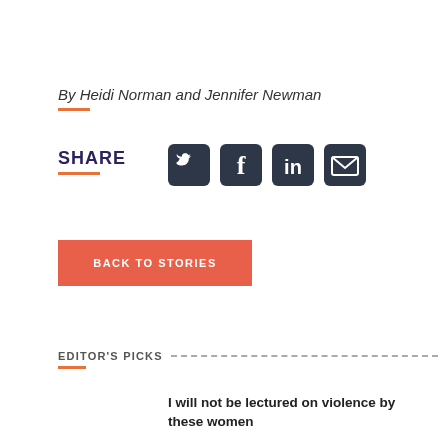By Heidi Norman and Jennifer Newman
SHARE
[Figure (infographic): Social media share icons: Twitter, Facebook, LinkedIn, Email]
BACK TO STORIES
EDITOR'S PICKS
I will not be lectured on violence by these women